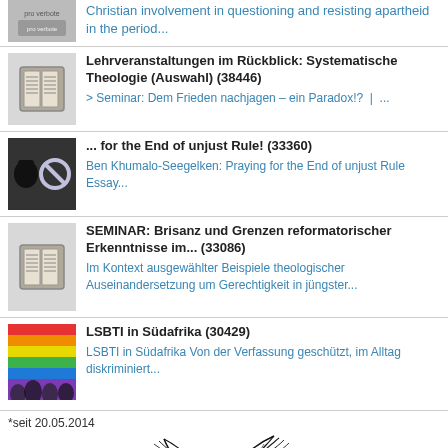Christian involvement in questioning and resisting apartheid in the period...
Lehrveranstaltungen im Rückblick: Systematische Theologie (Auswahl) (38446)
> Seminar: Dem Frieden nachjagen – ein Paradox!? | ...
... for the End of unjust Rule! (33360)
Ben Khumalo-Seegelken: Praying for the End of unjust Rule Essay...
SEMINAR: Brisanz und Grenzen reformatorischer Erkenntnisse im... (33086)
Im Kontext ausgewählter Beispiele theologischer Auseinandersetzung um Gerechtigkeit in jüngster...
LSBTI in Südafrika (30429)
LSBTI in Südafrika Von der Verfassung geschützt, im Alltag diskriminiert...
*seit 20.05.2014
[Figure (illustration): Decorative feather/quill pen illustration in black outline style]